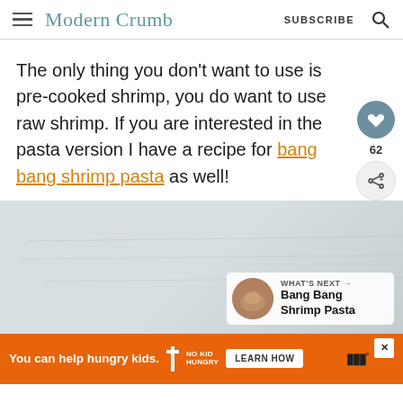Modern Crumb  SUBSCRIBE
The only thing you don't want to use is pre-cooked shrimp, you do want to use raw shrimp. If you are interested in the pasta version I have a recipe for bang bang shrimp pasta as well!
[Figure (photo): Light gray/blue textured background photo, partially visible, with a 'What's Next → Bang Bang Shrimp Pasta' overlay card in the bottom right corner]
[Figure (infographic): Orange advertisement banner: 'You can help hungry kids.' with No Kid Hungry logo and LEARN HOW button]